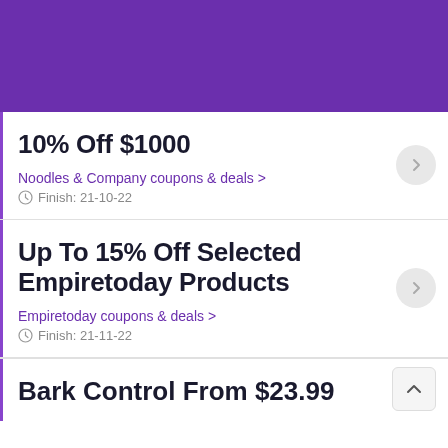[Figure (other): Purple header banner background]
10% Off $1000
Noodles & Company coupons & deals >
Finish: 21-10-22
Up To 15% Off Selected Empiretoday Products
Empiretoday coupons & deals >
Finish: 21-11-22
Bark Control From $23.99